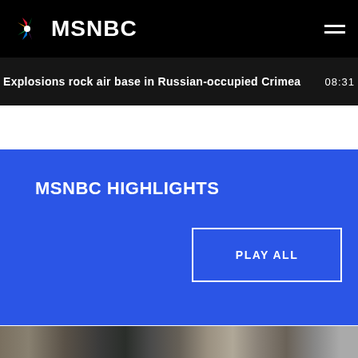MSNBC
Explosions rock air base in Russian-occupied Crimea  08:31
MSNBC HIGHLIGHTS
PLAY ALL
[Figure (photo): Crowd of people outdoors at bottom of page]